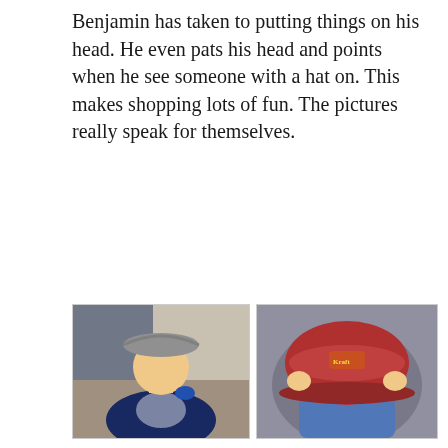Benjamin has taken to putting things on his head. He even pats his head and points when he see someone with a hat on. This makes shopping lots of fun. The pictures really speak for themselves.
[Figure (photo): Toddler wearing a metal bowl on his head, dressed in a navy blue shirt, chewing on a toy]
[Figure (photo): Toddler in a car seat with a large red baseball cap covering his face, hands on the brim]
[Figure (photo): Toddler wearing an oversized tan wide-brim hat that covers most of his head and face]
[Figure (photo): Toddler wearing an animal-themed cap with orange brim, looking down at something in hands]